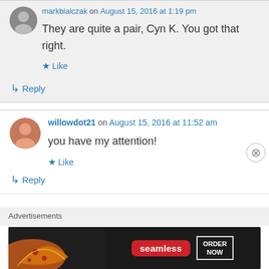They are quite a pair, Cyn K. You got that right.
Like
Reply
willowdot21 on August 15, 2016 at 11:52 am
you have my attention!
Like
Reply
Advertisements
[Figure (screenshot): Seamless food delivery advertisement banner showing pizza slices on dark background with Seamless logo and ORDER NOW button]